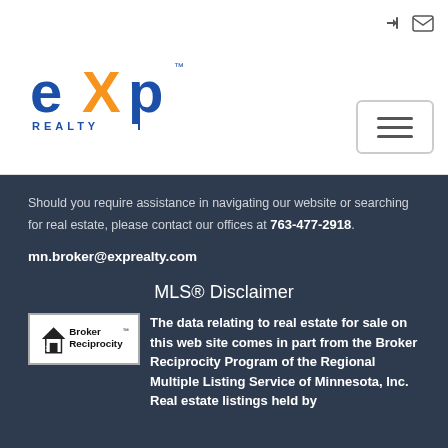[Figure (logo): eXp Realty logo with orange X slash and blue text, REALTY below]
Should you require assistance in navigating our website or searching for real estate, please contact our offices at 763-477-2918.
mn.broker@exprealty.com
MLS® Disclaimer
[Figure (logo): Broker Reciprocity logo - house icon with text Broker Reciprocity]
The data relating to real estate for sale on this web site comes in part from the Broker Reciprocity Program of the Regional Multiple Listing Service of Minnesota, Inc. Real estate listings held by